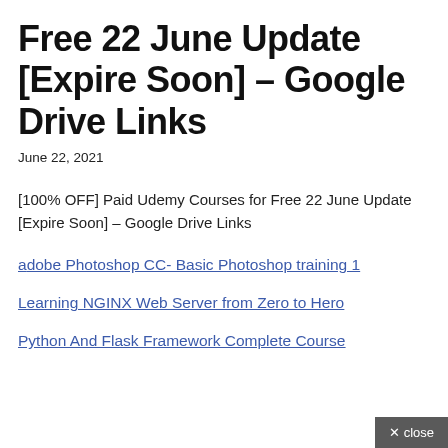Free 22 June Update [Expire Soon] – Google Drive Links
June 22, 2021
[100% OFF] Paid Udemy Courses for Free 22 June Update [Expire Soon] – Google Drive Links
adobe Photoshop CC- Basic Photoshop training 1
Learning NGINX Web Server from Zero to Hero
Python And Flask Framework Complete Course